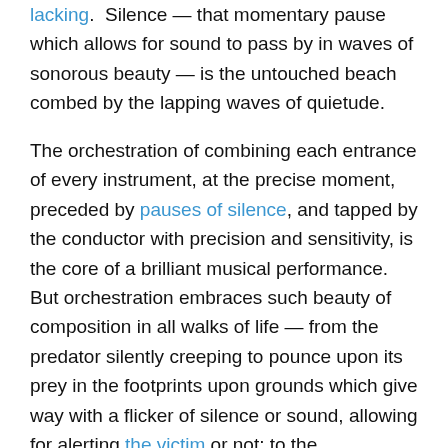lacking.  Silence — that momentary pause which allows for sound to pass by in waves of sonorous beauty — is the untouched beach combed by the lapping waves of quietude.

The orchestration of combining each entrance of every instrument, at the precise moment, preceded by pauses of silence, and tapped by the conductor with precision and sensitivity, is the core of a brilliant musical performance. But orchestration embraces such beauty of composition in all walks of life — from the predator silently creeping to pounce upon its prey in the footprints upon grounds which give way with a flicker of silence or sound, allowing for alerting the victim or not; to the composition of a breathtaking novel in coordinating characters, scenes and descriptive metaphors; the ability to coordinate the complexity of singularities into a cohesive whole is the art